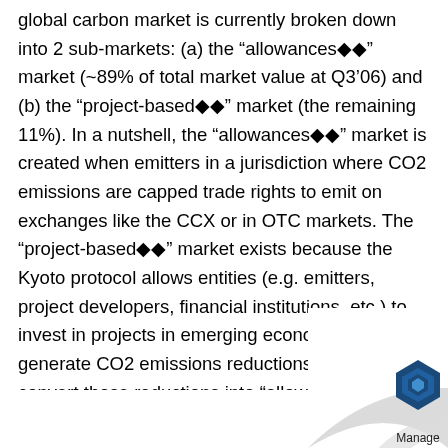global carbon market is currently broken down into 2 sub-markets: (a) the “allowances��” market (~89% of total market value at Q3'06) and (b) the “project-based��” market (the remaining 11%). In a nutshell, the “allowances��” market is created when emitters in a jurisdiction where CO2 emissions are capped trade rights to emit on exchanges like the CCX or in OTC markets. The “project-based��” market exists because the Kyoto protocol allows entities (e.g. emitters, project developers, financial institutions, etc.) to invest in projects in emerging economies that generate CO2 emissions reductions there, convert those reductions into “allowances��”, and then bring the “allowances��” back to jurisdictions where emissions are regulated to be sold in CO2 markets. By the World Bank’s own admission, reliable data on the project-based market is relatively hard to come by as there is a strategic angle to such investments, leading companies pretty secretive about them. That market is curr...
[Figure (logo): Page curl effect in bottom-right corner with a blue hexagon logo and 'Manage' text]